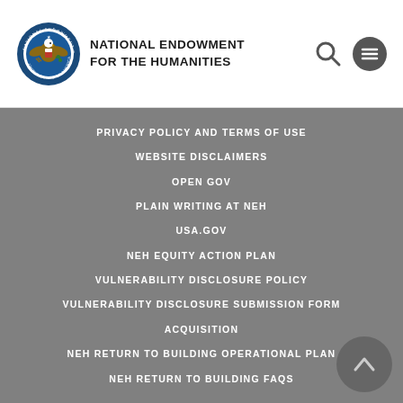NATIONAL ENDOWMENT FOR THE HUMANITIES
PRIVACY POLICY AND TERMS OF USE
WEBSITE DISCLAIMERS
OPEN GOV
PLAIN WRITING AT NEH
USA.GOV
NEH EQUITY ACTION PLAN
VULNERABILITY DISCLOSURE POLICY
VULNERABILITY DISCLOSURE SUBMISSION FORM
ACQUISITION
NEH RETURN TO BUILDING OPERATIONAL PLAN
NEH RETURN TO BUILDING FAQS